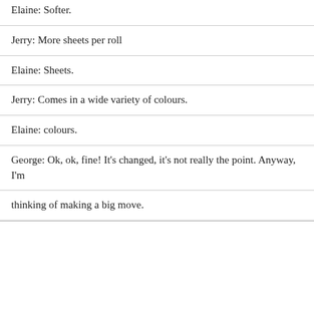Elaine: Softer.
Jerry: More sheets per roll
Elaine: Sheets.
Jerry: Comes in a wide variety of colours.
Elaine: colours.
George: Ok, ok, fine! It's changed, it's not really the point. Anyway, I'm
thinking of making a big move.